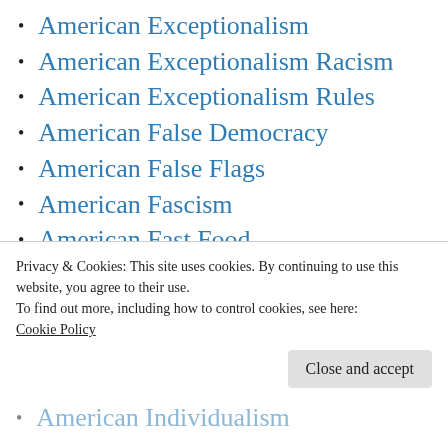American Exceptionalism
American Exceptionalism Racism
American Exceptionalism Rules
American False Democracy
American False Flags
American Fascism
American Fast Food
American Flag Fetish
American Foreign Policy
American Freedom Gas
American Gun Sickos
Privacy & Cookies: This site uses cookies. By continuing to use this website, you agree to their use.
To find out more, including how to control cookies, see here:
Cookie Policy
American Individualism